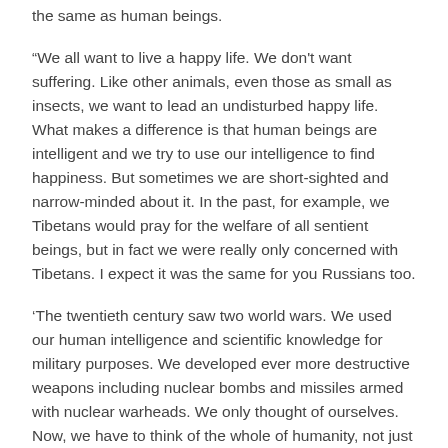the same as human beings.
“We all want to live a happy life. We don't want suffering. Like other animals, even those as small as insects, we want to lead an undisturbed happy life. What makes a difference is that human beings are intelligent and we try to use our intelligence to find happiness. But sometimes we are short-sighted and narrow-minded about it. In the past, for example, we Tibetans would pray for the welfare of all sentient beings, but in fact we were really only concerned with Tibetans. I expect it was the same for you Russians too.
‘The twentieth century saw two world wars. We used our human intelligence and scientific knowledge for military purposes. We developed ever more destructive weapons including nuclear bombs and missiles armed with nuclear warheads. We only thought of ourselves. Now, we have to think of the whole of humanity, not just this or that nation. Since we all have to live together on this one planet, there’s no room for fighting on the basis of a division into ‘us’ and ‘them’—that’s an old way of